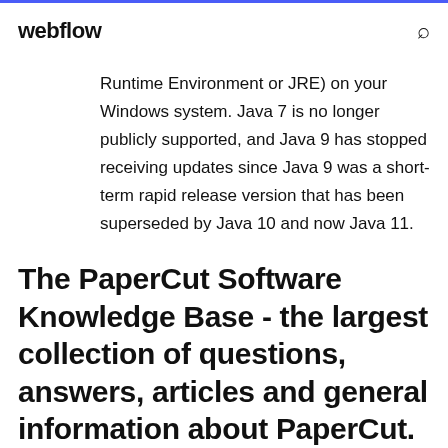webflow
Runtime Environment or JRE) on your Windows system. Java 7 is no longer publicly supported, and Java 9 has stopped receiving updates since Java 9 was a short-term rapid release version that has been superseded by Java 10 and now Java 11.
The PaperCut Software Knowledge Base - the largest collection of questions, answers, articles and general information about PaperCut.